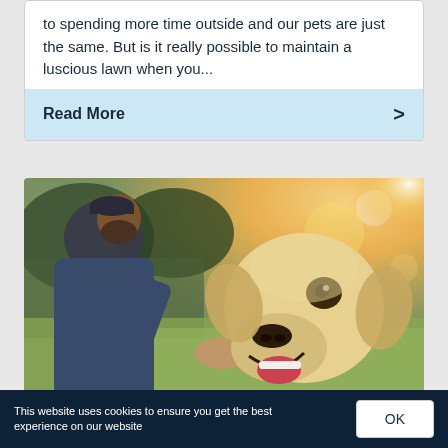to spending more time outside and our pets are just the same. But is it really possible to maintain a luscious lawn when you...
Read More >
[Figure (photo): A bearded man holding the face of a golden Labrador dog outdoors on a sunny day with grass and trees in the background.]
This website uses cookies to ensure you get the best experience on our website
OK